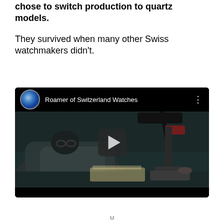chose to switch production to quartz models.
They survived when many other Swiss watchmakers didn't.
[Figure (screenshot): YouTube video embed showing 'Roamer of Switzerland Watches' with a darkened thumbnail of a watchmaker working at a workbench with a lamp and microscope tool, featuring a play button overlay.]